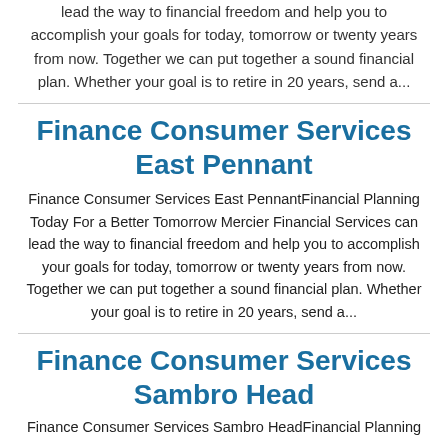lead the way to financial freedom and help you to accomplish your goals for today, tomorrow or twenty years from now. Together we can put together a sound financial plan. Whether your goal is to retire in 20 years, send a...
Finance Consumer Services East Pennant
Finance Consumer Services East PennantFinancial Planning Today For a Better Tomorrow Mercier Financial Services can lead the way to financial freedom and help you to accomplish your goals for today, tomorrow or twenty years from now. Together we can put together a sound financial plan. Whether your goal is to retire in 20 years, send a...
Finance Consumer Services Sambro Head
Finance Consumer Services Sambro HeadFinancial Planning...